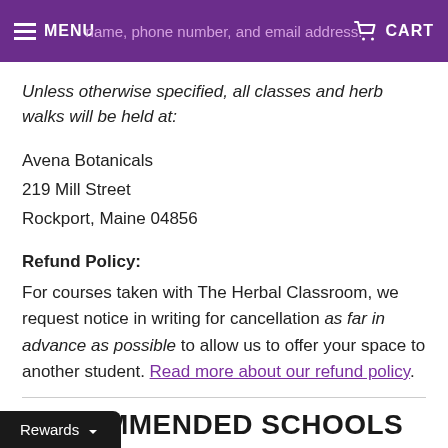MENU  [name, phone number, and email address]  CART
Unless otherwise specified, all classes and herb walks will be held at:
Avena Botanicals
219 Mill Street
Rockport, Maine 04856
Refund Policy:
For courses taken with The Herbal Classroom, we request notice in writing for cancellation as far in advance as possible to allow us to offer your space to another student. Read more about our refund policy.
RECOMMENDED SCHOOLS PROGRAMS